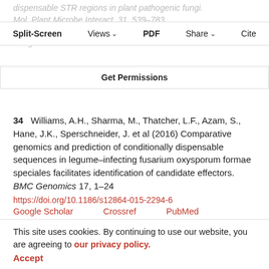dispensable STR regions in plant pathogenic fungi. Mol. Plant Microbe Interact. 31, 739–783 https://doi.org/10.1094/MPMI-05-17-0135-FI Google Scholar Crossref Get Permissions PubMed
34  Williams, A.H., Sharma, M., Thatcher, L.F., Azam, S., Hane, J.K., Sperschneider, J. et al (2016) Comparative genomics and prediction of conditionally dispensable sequences in legume–infecting fusarium oxysporum formae speciales facilitates identification of candidate effectors. BMC Genomics 17, 1–24 https://doi.org/10.1186/s12864-015-2294-6 Google Scholar  Crossref  PubMed
35  Huang, M., Ma, Z. and Zhou, X. (2020) Comparative genomic data provide new insight on the evolution of pathogenicity in sporothrix species. Front. Microbiol. 11, 565439. https://doi.org/10.3389/fmicb.2020.565439 Google Scholar  Crossref  PubMed
This site uses cookies. By continuing to use our website, you are agreeing to our privacy policy. Accept